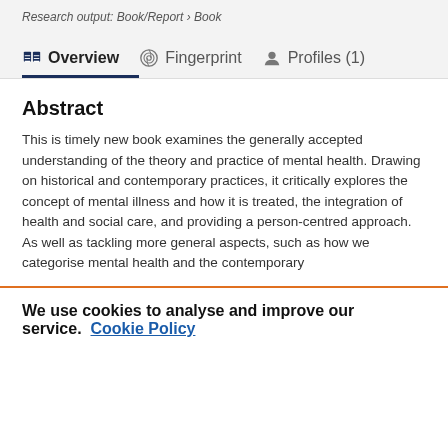Research output: Book/Report › Book
Overview | Fingerprint | Profiles (1)
Abstract
This is timely new book examines the generally accepted understanding of the theory and practice of mental health. Drawing on historical and contemporary practices, it critically explores the concept of mental illness and how it is treated, the integration of health and social care, and providing a person-centred approach. As well as tackling more general aspects, such as how we categorise mental health and the contemporary
We use cookies to analyse and improve our service. Cookie Policy